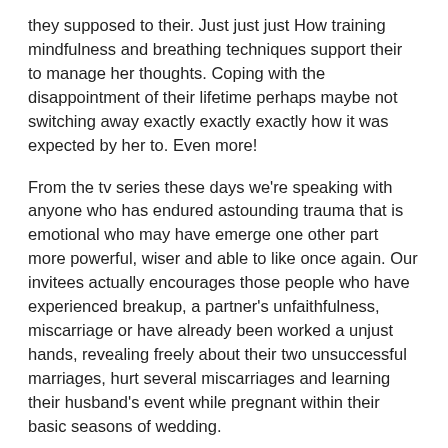they supposed to their. Just just just How training mindfulness and breathing techniques support their to manage her thoughts. Coping with the disappointment of their lifetime perhaps maybe not switching away exactly exactly exactly how it was expected by her to. Even more!
From the tv series these days we're speaking with anyone who has endured astounding trauma that is emotional who may have emerge one other part more powerful, wiser and able to like once again. Our invitees actually encourages those people who have experienced breakup, a partner's unfaithfulness, miscarriage or have already been worked a unjust hands, revealing freely about their two unsuccessful marriages, hurt several miscarriages and learning their husband's event while pregnant within their basic seasons of wedding.
To enhance the guest's assortment of disappointments, she poignantly informs us in regards to the page that finished their 2nd relationship and which kept their devastated and alone. Creating someone abandon their after just just just what she thought to have already been twelve wonderful ages, she needed to function with the hard situations most on her behalf very own, like dealing with the organization they owned along, as he efficiently vanished for